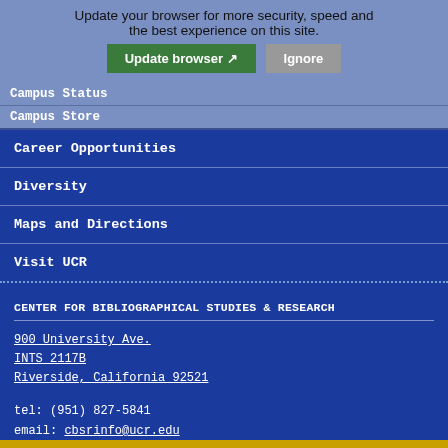Update your browser for more security, speed and the best experience on this site.
Campus Status
Campus Store
Career Opportunities
Diversity
Maps and Directions
Visit UCR
CENTER FOR BIBLIOGRAPHICAL STUDIES & RESEARCH
900 University Ave.
INTS 2117B
Riverside, California 92521
tel: (951) 827-5841
email: cbsrinfo@ucr.edu